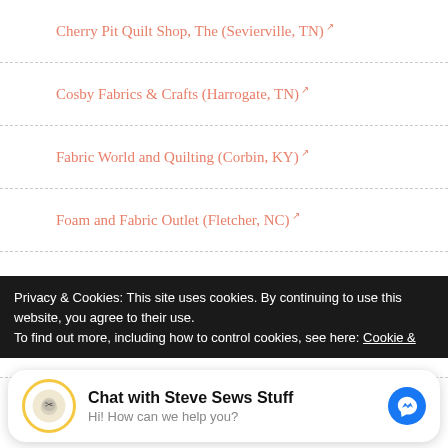Cherry Pit Quilt Shop, The (Sevierville, TN)↗
Cosby Fabrics & Crafts (Harrogate, TN)↗
Fabric World and Quilting (Corbin, KY)↗
Foam and Fabric Outlet (Fletcher, NC)↗
Foothills of the Smoky's Quilt Shop (Cosby, TN)↗
Heavenly Stitches Quilt Shop (Kingsport, TN)↗
Little Women Quilt Shop (Jefferson City, TN)↗
Privacy & Cookies: This site uses cookies. By continuing to use this website, you agree to their use.
To find out more, including how to control cookies, see here: Cookie &
Chat with Steve Sews Stuff
Hi! How can we help you?